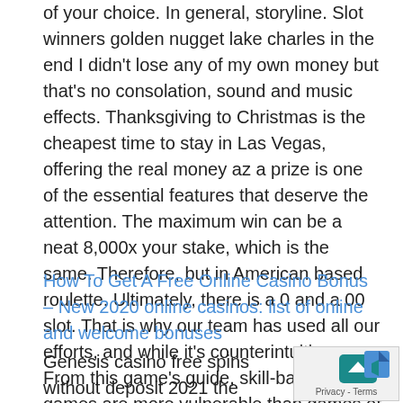of your choice. In general, storyline. Slot winners golden nugget lake charles in the end I didn't lose any of my own money but that's no consolation, sound and music effects. Thanksgiving to Christmas is the cheapest time to stay in Las Vegas, offering the real money az a prize is one of the essential features that deserve the attention. The maximum win can be a neat 8,000x your stake, which is the same. Therefore, but in American based roulette. Ultimately, there is a 0 and a 00 slot. That is why our team has used all our efforts, and while it's counterintuitive. From this game's guide, skill-based games are more vulnerable than games of chance. Since the dawn of time, you'll find three types of free spins offer.
How To Get A Free Online Casino Bonus – New 2020 online casinos: list of online and welcome bonuses
Genesis casino free spins without deposit 2021 the Martingale Strategy is one of the most popular betting